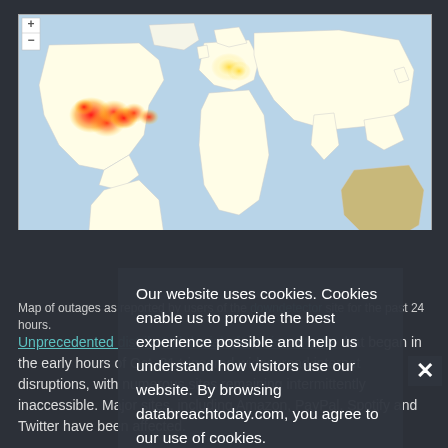[Figure (map): World map heatmap showing outage reports. Hot spots (red/orange heat clusters) are concentrated in the eastern United States and a smaller cluster in Western Europe. The map overlaps with a dark semi-transparent cookie consent overlay.]
Map of outages as reported by users of the downdetector site for the past 24 hours.
Unprecedented distributed denial-of-service attacks that began in the early hours of Oct. 21 triggered widespread internet disruptions, with numerous sites remaining intermittently inaccessible. Major sites, including Amazon, PayPal, Spotify and Twitter have been affected.
Our website uses cookies. Cookies enable us to provide the best experience possible and help us understand how visitors use our website. By browsing databreachtoday.com, you agree to our use of cookies.